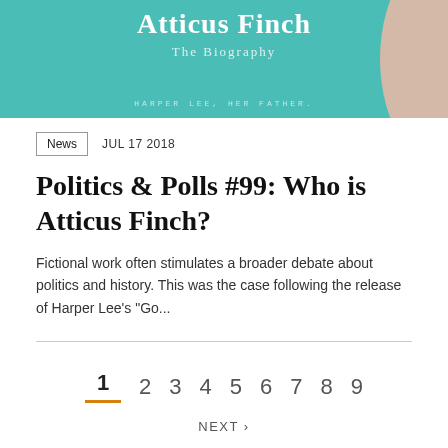[Figure (photo): Book cover of 'Atticus Finch: The Biography' by Harper Lee's father, teal/turquoise colored, held by a person's arm]
News   JUL 17 2018
Politics & Polls #99: Who is Atticus Finch?
Fictional work often stimulates a broader debate about politics and history. This was the case following the release of Harper Lee's "Go...
1 2 3 4 5 6 7 8 9
NEXT ›
LAST »